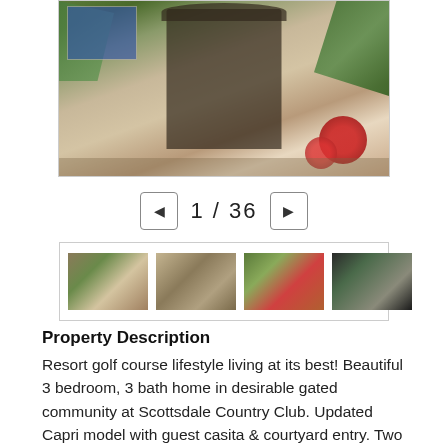[Figure (photo): Main property photo showing a Spanish-style courtyard entry with wrought iron gate, tile wall mosaic, flowering red plants, and stucco walls surrounded by greenery]
1 / 36
[Figure (photo): Row of four property thumbnail photos showing various views of the home's exterior, courtyard, and interior]
Property Description
Resort golf course lifestyle living at its best! Beautiful 3 bedroom, 3 bath home in desirable gated community at Scottsdale Country Club. Updated Capri model with guest casita & courtyard entry. Two sets of Atrium 9' doors lead out to the rear patio,